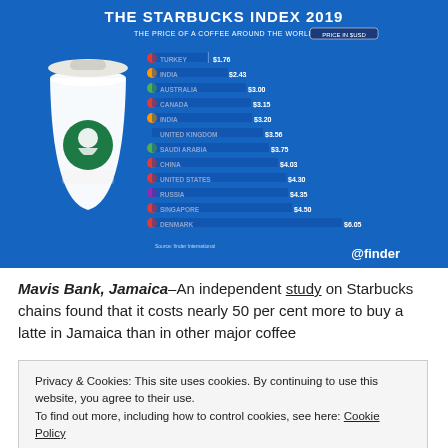[Figure (bar-chart): THE STARBUCKS INDEX 2019]
Mavis Bank, Jamaica–An independent study on Starbucks chains found that it costs nearly 50 per cent more to buy a latte in Jamaica than in other major coffee
Privacy & Cookies: This site uses cookies. By continuing to use this website, you agree to their use. To find out more, including how to control cookies, see here: Cookie Policy